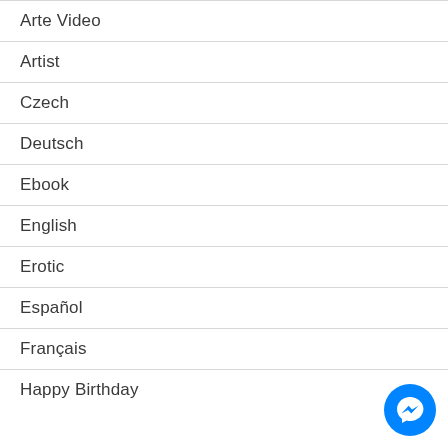Arte Video
Artist
Czech
Deutsch
Ebook
English
Erotic
Español
Français
Happy Birthday
[Figure (illustration): Blue circular Facebook Messenger chat button icon in bottom-right corner]